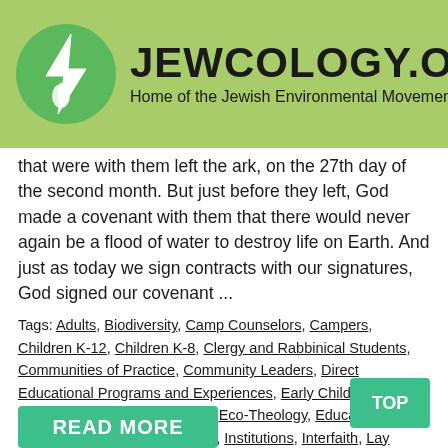[Figure (logo): Jewcology.org website header with green leaf/water drop logo circle and site title 'JEWCOLOGY.ORG' with subtitle 'Home of the Jewish Environmental Movement' on light green background]
that were with them left the ark, on the 27th day of the second month. But just before they left, God made a covenant with them that there would never again be a flood of water to destroy life on Earth. And just as today we sign contracts with our signatures, God signed our covenant ...
Tags: Adults, Biodiversity, Camp Counselors, Campers, Children K-12, Children K-8, Clergy and Rabbinical Students, Communities of Practice, Community Leaders, Direct Educational Programs and Experiences, Early Childhood, Earth-Based Jewish Practices, Eco-Theology, Education, Experiential Learning, Families, Institutions, Interfaith, Lay Leaders, Noah / Parshat Noach / Rainbow Day, Outdoor Classrooms, Ready-Made Resources, Renewable Energy, Science / Technology, Seniors, Shabbat / Shmita / Cycles of Rest, Special Needs, Teachers / Educators, Teenagers, University Students, Young Adults